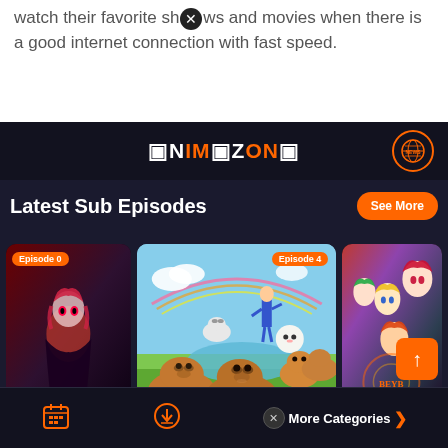watch their favorite shows and movies when there is a good internet connection with fast speed.
[Figure (screenshot): Screenshot of AnimeZone app showing 'Latest Sub Episodes' section with episode cards including Animation Kapibara-san (Episode 4), a dark anime (Episode 0), and Beyblade B-King. Bottom navigation bar with calendar, download, categories icons and scroll-to-top button.]